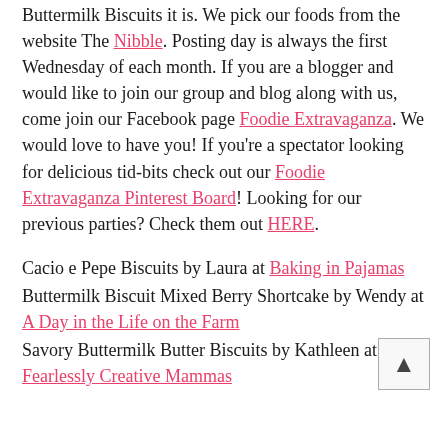Buttermilk Biscuits it is. We pick our foods from the website The Nibble. Posting day is always the first Wednesday of each month. If you are a blogger and would like to join our group and blog along with us, come join our Facebook page Foodie Extravaganza. We would love to have you! If you're a spectator looking for delicious tid-bits check out our Foodie Extravaganza Pinterest Board! Looking for our previous parties? Check them out HERE.
Cacio e Pepe Biscuits by Laura at Baking in Pajamas
Buttermilk Biscuit Mixed Berry Shortcake by Wendy at A Day in the Life on the Farm
Savory Buttermilk Butter Biscuits by Kathleen at Fearlessly Creative Mammas